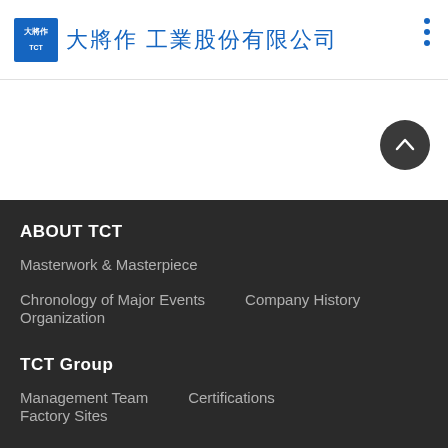大將作工業股份有限公司
ABOUT TCT
Masterwork & Masterpiece
Chronology of Major Events
Company History
Organization
TCT Group
Management Team
Certifications
Factory Sites
PROJECTS